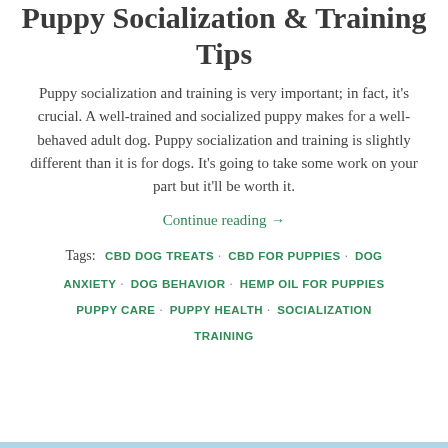Puppy Socialization & Training Tips
Puppy socialization and training is very important; in fact, it's crucial. A well-trained and socialized puppy makes for a well-behaved adult dog. Puppy socialization and training is slightly different than it is for dogs. It's going to take some work on your part but it'll be worth it.
Continue reading →
Tags: CBD DOG TREATS · CBD FOR PUPPIES · DOG ANXIETY · DOG BEHAVIOR · HEMP OIL FOR PUPPIES · PUPPY CARE · PUPPY HEALTH · SOCIALIZATION · TRAINING